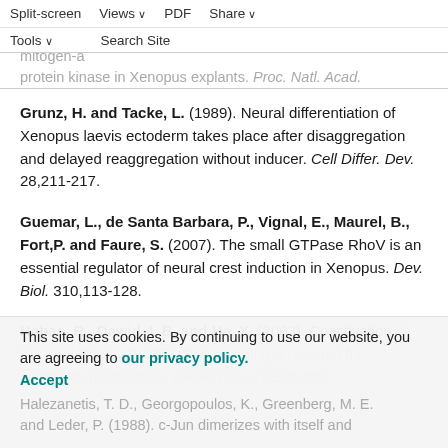Split-screen  Views  PDF  Share  Tools  Search Site
and Kimelman, D. (1994). Fibroblast growth factor, but not activin, is a potent activator of mitogen-activated protein kinase in Xenopus explants. Proc. Natl. Acad. Sci. USA 91,1662-1666.
Grunz, H. and Tacke, L. (1989). Neural differentiation of Xenopus laevis ectoderm takes place after disaggregation and delayed reaggregation without inducer. Cell Differ. Dev. 28,211-217.
Guemar, L., de Santa Barbara, P., Vignal, E., Maurel, B., Fort,P. and Faure, S. (2007). The small GTPase RhoV is an essential regulator of neural crest induction in Xenopus. Dev. Biol. 310,113-128.
Habas, R., Dawid, I. B. and He, X. (2003). Coactivation of Rac and Rho by Wnt/Frizzled signaling is required for vertebrate gastrulation. Genes Dev. 17,295-309.
This site uses cookies. By continuing to use our website, you are agreeing to our privacy policy. Accept
Halezanetis, T. D., Georgopoulos, K., Greenberg, M. E. and Leder, P. (1988). c-Jun dimerizes with itself and